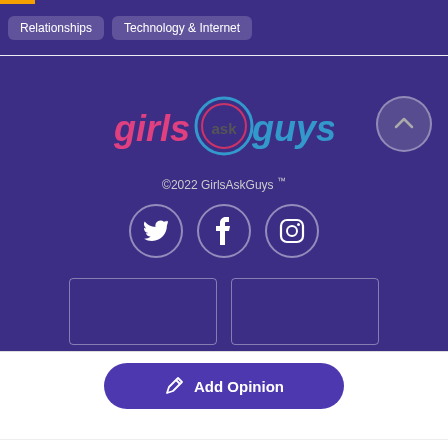Relationships | Technology & Internet
[Figure (logo): GirlsAskGuys logo with stylized text 'girls ask guys' and speech bubble icons]
©2022 GirlsAskGuys ™
[Figure (infographic): Three social media icon circles: Twitter, Facebook, Instagram]
[Figure (screenshot): Two empty input/text boxes side by side]
Add Opinion